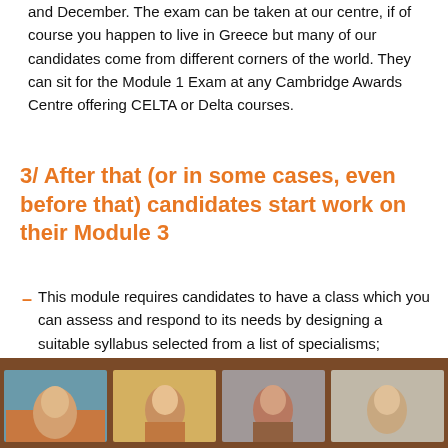and December. The exam can be taken at our centre, if of course you happen to live in Greece but many of our candidates come from different corners of the world. They can sit for the Module 1 Exam at any Cambridge Awards Centre offering CELTA or Delta courses.
3/ After that (or in some cases, even before that) candidates start work on their Module 3
This module requires candidates to have a class which you can assess and respond to its needs by designing a suitable syllabus selected from a list of specialisms; alternatively, if the ELT Management has been selected, access to a language teaching operation is important. Candidates do individual research from home, supported by their tutor online and can submit their work in June or December.
[Figure (photo): A strip of four portrait photos of people against a brown/warm background, partially visible at the bottom of the page.]